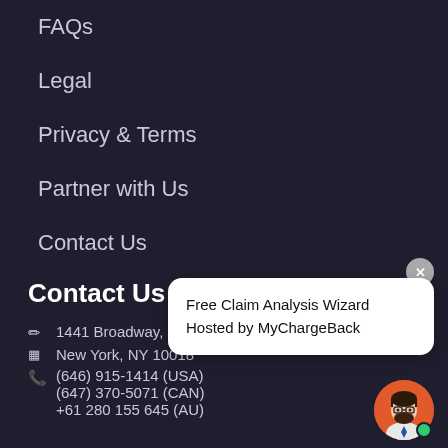FAQs
Legal
Privacy & Terms
Partner with Us
Contact Us
Contact Us
1441 Broadway, 3rd
New York, NY 10018
(646) 915-1414 (USA)
(647) 370-5071 (CAN)
+61 280 155 645 (AU)
Free Claim Analysis Wizard
Hosted by MyChargeBack
[Figure (illustration): Avatar of a bearded man with glasses on an orange circle background, with a green online indicator dot]